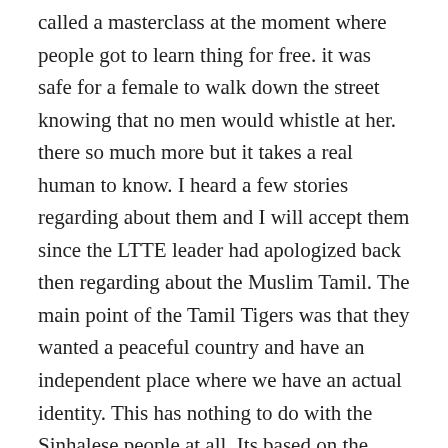called a masterclass at the moment where people got to learn thing for free. it was safe for a female to walk down the street knowing that no men would whistle at her. there so much more but it takes a real human to know. I heard a few stories regarding about them and I will accept them since the LTTE leader had apologized back then regarding about the Muslim Tamil. The main point of the Tamil Tigers was that they wanted a peaceful country and have an independent place where we have an actual identity. This has nothing to do with the Sinhalese people at all. Its based on the government, the British royal and the foreigner who raided Sri Lanka. We're just recreating a new problem for a community where we can end it the easy way. Not all problems are permanent, just remember. The main point of this blog is to show how better us humans can do by being